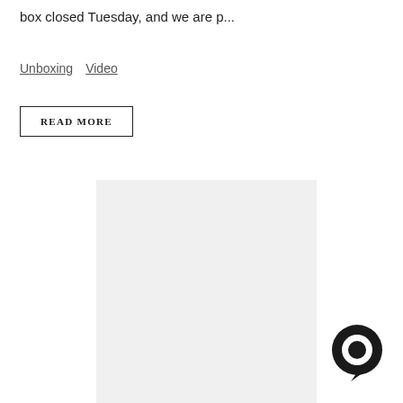box closed Tuesday, and we are p...
Unboxing
Video
READ MORE
[Figure (photo): Light gray placeholder image rectangle]
[Figure (illustration): Dark circular chat bubble icon]